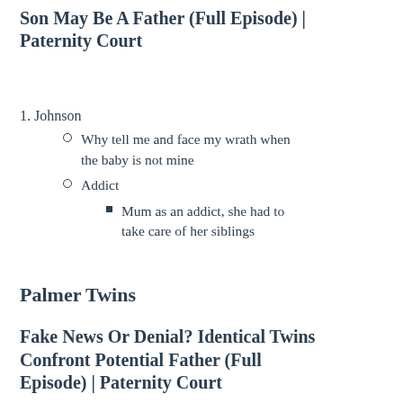Son May Be A Father (Full Episode) | Paternity Court
1. Johnson
Why tell me and face my wrath when the baby is not mine
Addict
Mum as an addict, she had to take care of her siblings
Palmer Twins
Fake News Or Denial? Identical Twins Confront Potential Father (Full Episode) | Paternity Court